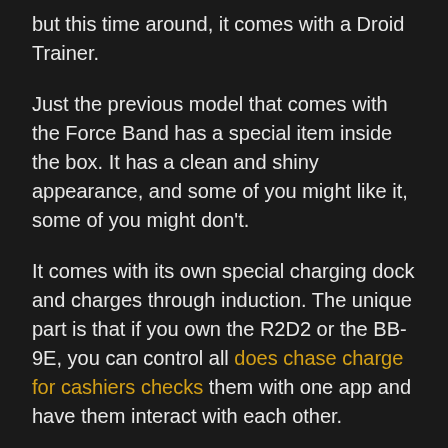but this time around, it comes with a Droid Trainer.
Just the previous model that comes with the Force Band has a special item inside the box. It has a clean and shiny appearance, and some of you might like it, some of you might don’t.
It comes with its own special charging dock and charges through induction. The unique part is that if you own the R2D2 or the BB-9E, you can control all does chase charge for cashiers checks them with one app and have them interact with each other.
There is also the very cool “watch with me” feature where you sit back and enjoy Star Wars sage films with your bb8 and see him reacting to what’s happening on the screen.
Let’s talk about the elephant in the room, meaning which is